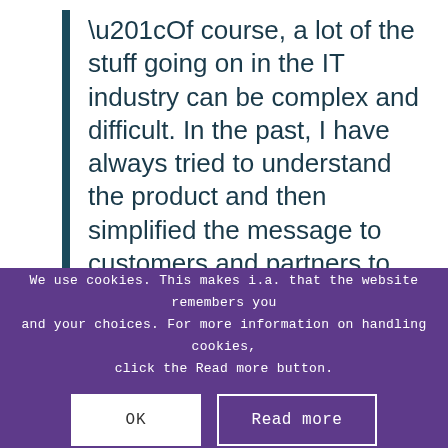“Of course, a lot of the stuff going on in the IT industry can be complex and difficult. In the past, I have always tried to understand the product and then simplified the message to customers and partners to make their process easier. Why should we make things complicated if we can make them understandable and
We use cookies. This makes i.a. that the website remembers you and your choices. For more information on handling cookies, click the Read more button.